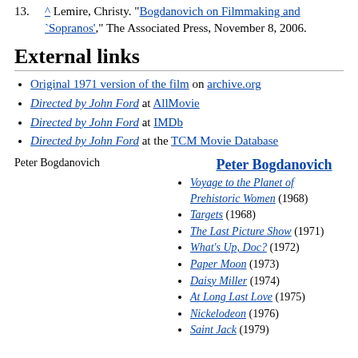13. ^ Lemire, Christy. "Bogdanovich on Filmmaking and `Sopranos'," The Associated Press, November 8, 2006.
External links
Original 1971 version of the film on archive.org
Directed by John Ford at AllMovie
Directed by John Ford at IMDb
Directed by John Ford at the TCM Movie Database
Peter Bogdanovich
Peter Bogdanovich
Voyage to the Planet of Prehistoric Women (1968)
Targets (1968)
The Last Picture Show (1971)
What's Up, Doc? (1972)
Paper Moon (1973)
Daisy Miller (1974)
At Long Last Love (1975)
Nickelodeon (1976)
Saint Jack (1979)
Feature films